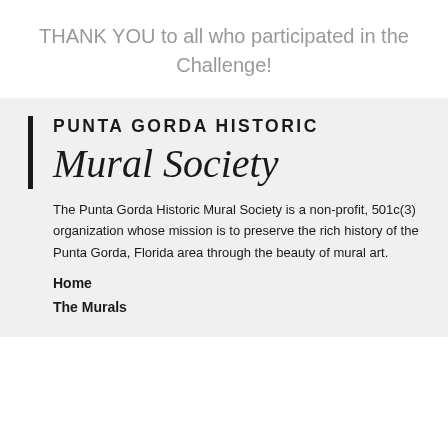THANK YOU to all who participated in the Challenge!
[Figure (logo): Punta Gorda Historic Mural Society logo with bold sans-serif text 'PUNTA GORDA HISTORIC' and script text 'Mural Society', flanked by a vertical black bar on the left]
The Punta Gorda Historic Mural Society is a non-profit, 501c(3) organization whose mission is to preserve the rich history of the Punta Gorda, Florida area through the beauty of mural art.
Home
The Murals